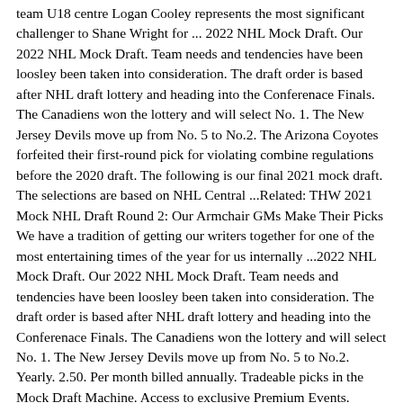team U18 centre Logan Cooley represents the most significant challenger to Shane Wright for ... 2022 NHL Mock Draft. Our 2022 NHL Mock Draft. Team needs and tendencies have been loosley been taken into consideration. The draft order is based after NHL draft lottery and heading into the Conferenace Finals. The Canadiens won the lottery and will select No. 1. The New Jersey Devils move up from No. 5 to No.2. The Arizona Coyotes forfeited their first-round pick for violating combine regulations before the 2020 draft. The following is our final 2021 mock draft. The selections are based on NHL Central ...Related: THW 2021 Mock NHL Draft Round 2: Our Armchair GMs Make Their Picks We have a tradition of getting our writers together for one of the most entertaining times of the year for us internally ...2022 NHL Mock Draft. Our 2022 NHL Mock Draft. Team needs and tendencies have been loosley been taken into consideration. The draft order is based after NHL draft lottery and heading into the Conferenace Finals. The Canadiens won the lottery and will select No. 1. The New Jersey Devils move up from No. 5 to No.2. Yearly. 2.50. Per month billed annually. Tradeable picks in the Mock Draft Machine. Access to exclusive Premium Events. Exclusive premium content. Ad-free site experience. Access to TDN Expert Discord. Save your mock drafts and big boards.NFL Mock Draft 2022: Madden simulation. 1. Jacksonville Jaguars. Aidan Hutchinson, EDGE, Michigan. We're off to a good start. Hutchinson is the favorite to go No. 1 overall to the Jaguars. There ...2014 NHL Mock Draft.